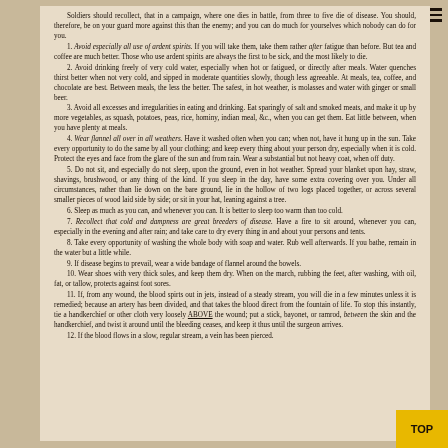Soldiers should recollect, that in a campaign, where one dies in battle, from three to five die of disease. You should, therefore, be on your guard more against this than the enemy; and you can do much for yourselves which nobody can do for you.
1. Avoid especially all use of ardent spirits. If you will take them, take them rather after fatigue than before. But tea and coffee are much better. Those who use ardent spirits are always the first to be sick, and the most likely to die.
2. Avoid drinking freely of very cold water, especially when hot or fatigued, or directly after meals. Water quenches thirst better when not very cold, and sipped in moderate quantities slowly, though less agreeable. At meals, tea, coffee, and chocolate are best. Between meals, the less the better. The safest, in hot weather, is molasses and water with ginger or small beer.
3. Avoid all excesses and irregularities in eating and drinking. Eat sparingly of salt and smoked meats, and make it up by more vegetables, as squash, potatoes, peas, rice, hominy, indian meal, &c., when you can get them. Eat little between, when you have plenty at meals.
4. Wear flannel all over in all weathers. Have it washed often when you can; when not, have it hung up in the sun. Take every opportunity to do the same by all your clothing; and keep every thing about your person dry, especially when it is cold. Protect the eyes and face from the glare of the sun and from rain. Wear a substantial but not heavy coat, when off duty.
5. Do not sit, and especially do not sleep, upon the ground, even in hot weather. Spread your blanket upon hay, straw, shavings, brushwood, or any thing of the kind. If you sleep in the day, have some extra covering over you. Under all circumstances, rather than lie down on the bare ground, lie in the hollow of two logs placed together, or across several smaller pieces of wood laid side by side; or sit in your hat, leaning against a tree.
6. Sleep as much as you can, and whenever you can. It is better to sleep too warm than too cold.
7. Recollect that cold and dampness are great breeders of disease. Have a fire to sit around, whenever you can, especially in the evening and after rain; and take care to dry every thing in and about your persons and tents.
8. Take every opportunity of washing the whole body with soap and water. Rub well afterwards. If you bathe, remain in the water but a little while.
9. If disease begins to prevail, wear a wide bandage of flannel around the bowels.
10. Wear shoes with very thick soles, and keep them dry. When on the march, rubbing the feet, after washing, with oil, fat, or tallow, protects against foot sores.
11. If, from any wound, the blood spirts out in jets, instead of a steady stream, you will die in a few minutes unless it is remedied; because an artery has been divided, and that takes the blood direct from the fountain of life. To stop this instantly, tie a handkerchief or other cloth very loosely ABOVE the wound; put a stick, bayonet, or ramrod, between the skin and the handkerchief, and twist it around until the bleeding ceases, and keep it thus until the surgeon arrives.
12. If the blood flows in a slow, regular stream, a vein has been pierced.